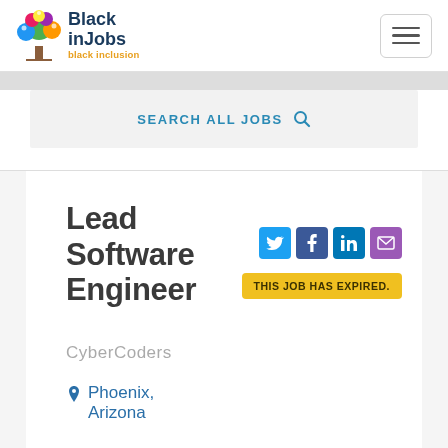[Figure (logo): BlackInJobs logo with colorful tree and text 'Black inJobs black inclusion']
[Figure (other): Hamburger menu button with three horizontal lines]
SEARCH ALL JOBS
Lead Software Engineer
CyberCoders
Phoenix, Arizona
[Figure (other): Social sharing icons: Twitter, Facebook, LinkedIn, Email]
THIS JOB HAS EXPIRED.